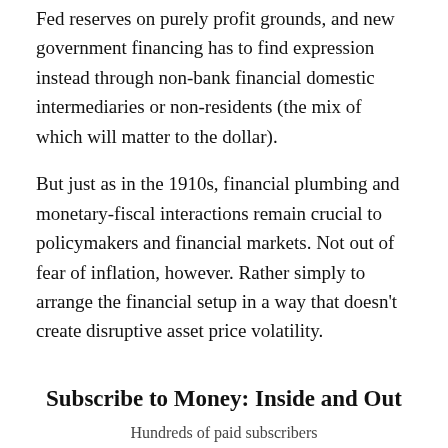Fed reserves on purely profit grounds, and new government financing has to find expression instead through non-bank financial domestic intermediaries or non-residents (the mix of which will matter to the dollar).
But just as in the 1910s, financial plumbing and monetary-fiscal interactions remain crucial to policymakers and financial markets. Not out of fear of inflation, however. Rather simply to arrange the financial setup in a way that doesn’t create disruptive asset price volatility.
Subscribe to Money: Inside and Out
Hundreds of paid subscribers
The Exanto Data team on global macroeconomics and